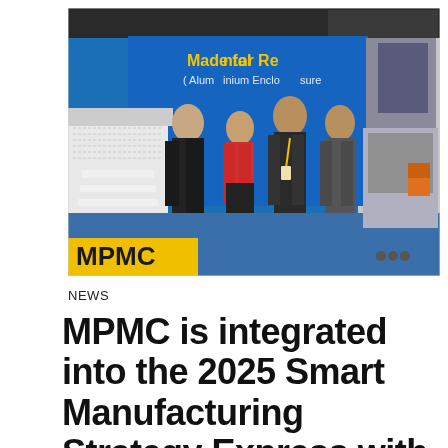[Figure (photo): Four people standing at a trade show booth. A blue backdrop reads 'Made for Rental (Aluminium Enclosures)'. An MPMC logo banner is visible in the lower left. Trade show floor with other booths visible in the background.]
NEWS
MPMC is integrated into the 2025 Smart Manufacturing Strategy Express with its brand strength